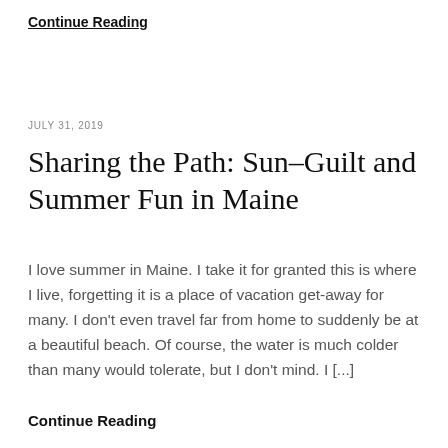Continue Reading
JULY 31, 2019
Sharing the Path: Sun–Guilt and Summer Fun in Maine
I love summer in Maine. I take it for granted this is where I live, forgetting it is a place of vacation get-away for many. I don't even travel far from home to suddenly be at a beautiful beach. Of course, the water is much colder than many would tolerate, but I don't mind. I [...]
Continue Reading